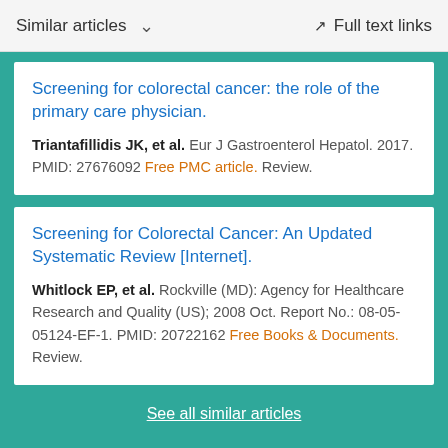Similar articles  ∨   Full text links
Screening for colorectal cancer: the role of the primary care physician.
Triantafillidis JK, et al. Eur J Gastroenterol Hepatol. 2017. PMID: 27676092 Free PMC article. Review.
Screening for Colorectal Cancer: An Updated Systematic Review [Internet].
Whitlock EP, et al. Rockville (MD): Agency for Healthcare Research and Quality (US); 2008 Oct. Report No.: 08-05-05124-EF-1. PMID: 20722162 Free Books & Documents. Review.
See all similar articles